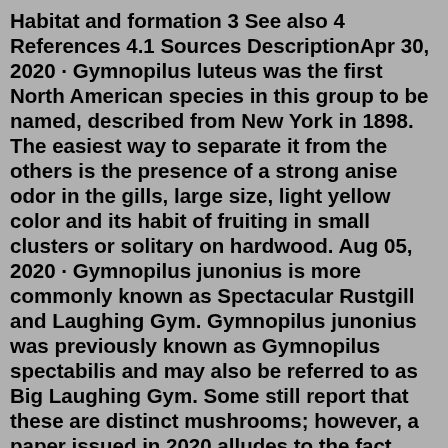Habitat and formation 3 See also 4 References 4.1 Sources DescriptionApr 30, 2020 · Gymnopilus luteus was the first North American species in this group to be named, described from New York in 1898. The easiest way to separate it from the others is the presence of a strong anise odor in the gills, large size, light yellow color and its habit of fruiting in small clusters or solitary on hardwood. Aug 05, 2020 · Gymnopilus junonius is more commonly known as Spectacular Rustgill and Laughing Gym. Gymnopilus junonius was previously known as Gymnopilus spectabilis and may also be referred to as Big Laughing Gym. Some still report that these are distinct mushrooms; however, a paper issued in 2020 alludes to the fact they are one of the same [1.]. Observation 34803: Gymnopilus junonius group. Google Images Occurrence Map Send Observer a Question. When: 2009-12-01. Collection location: East Baton Rouge Parish, Baton Rouge, Louisiana, USA [Click for map] Who: J. Williams (jwilliams) No specimen available Notes: Growing from an oak. Mo